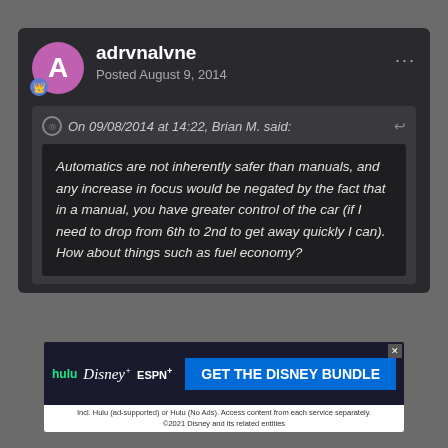adrvnalvne — Posted August 9, 2014
On 09/08/2014 at 14:22, Brian M. said:
Automatics are not inherently safer than manuals, and any increase in focus would be negated by the fact that in a manual, you have greater control of the car (if I need to drop from 6th to 2nd to get away quickly I can).
How about things such as fuel economy?
These days manuals are less economical than autos in most cases I've seen.
On 09/08/2014 at 14:37, Hardcore Til I Die said:
[Figure (screenshot): Advertisement banner for Disney Bundle showing Hulu, Disney+, ESPN+ logos with blue CTA button 'GET THE DISNEY BUNDLE']